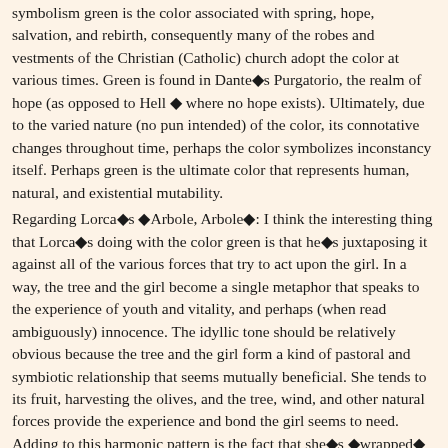symbolism green is the color associated with spring, hope, salvation, and rebirth, consequently many of the robes and vestments of the Christian (Catholic) church adopt the color at various times. Green is found in Dante's Purgatorio, the realm of hope (as opposed to Hell where no hope exists). Ultimately, due to the varied nature (no pun intended) of the color, its connotative changes throughout time, perhaps the color symbolizes inconstancy itself. Perhaps green is the ultimate color that represents human, natural, and existential mutability.
Regarding Lorca's 'Arbole, Arbole': I think the interesting thing that Lorca's doing with the color green is that he's juxtaposing it against all of the various forces that try to act upon the girl. In a way, the tree and the girl become a single metaphor that speaks to the experience of youth and vitality, and perhaps (when read ambiguously) innocence. The idyllic tone should be relatively obvious because the tree and the girl form a kind of pastoral and symbiotic relationship that seems mutually beneficial. She tends to its fruit, harvesting the olives, and the tree, wind, and other natural forces provide the experience and bond the girl seems to need. Adding to this harmonic pattern is the fact that she's 'wrapped' by the 'wind'. The personification of nature embracing the girl makes it seem that the girl is much more interested in preserving her current state of being (which seems intimately